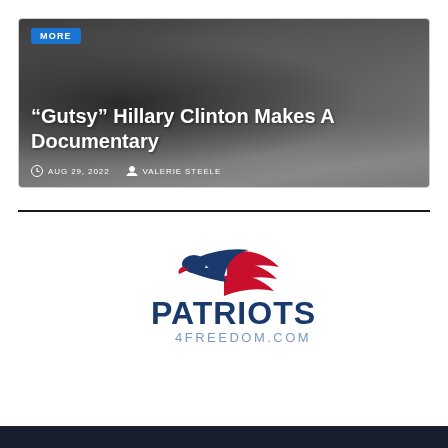[Figure (photo): Article card with photo of people (Hillary Clinton group) used as background image with 'MORE' badge and article title overlay]
“Gutsy” Hillary Clinton Makes A Documentary
AUG 29, 2022   VALERIE STEELE
[Figure (logo): Patriots4Freedom.com logo with eagle wings graphic in red/blue and bold navy text]